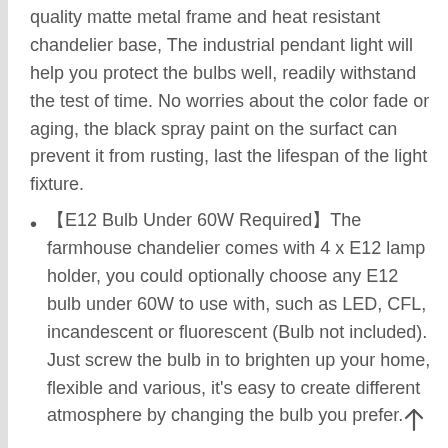quality matte metal frame and heat resistant chandelier base, The industrial pendant light will help you protect the bulbs well, readily withstand the test of time. No worries about the color fade or aging, the black spray paint on the surfact can prevent it from rusting, last the lifespan of the light fixture.
【E12 Bulb Under 60W Required】The farmhouse chandelier comes with 4 x E12 lamp holder, you could optionally choose any E12 bulb under 60W to use with, such as LED, CFL, incandescent or fluorescent (Bulb not included). Just screw the bulb in to brighten up your home, flexible and various, it's easy to create different atmosphere by changing the bulb you prefer.